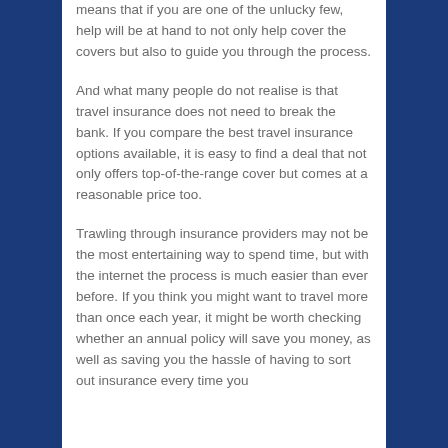means that if you are one of the unlucky few, help will be at hand to not only help cover the covers but also to guide you through the process.
And what many people do not realise is that travel insurance does not need to break the bank. If you compare the best travel insurance options available, it is easy to find a deal that not only offers top-of-the-range cover but comes at a reasonable price too.
Trawling through insurance providers may not be the most entertaining way to spend time, but with the internet the process is much easier than ever before. If you think you might want to travel more than once each year, it might be worth checking whether an annual policy will save you money, as well as saving you the hassle of having to sort out insurance every time you